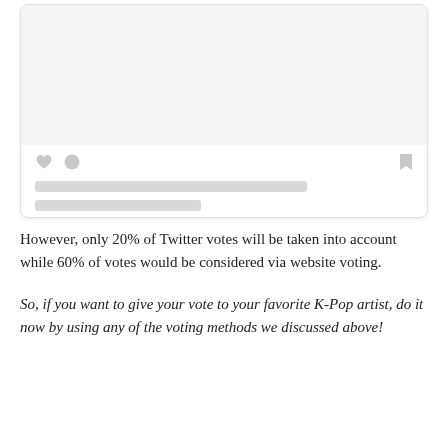[Figure (screenshot): Social media post card mockup with gray image placeholder area, heart and comment bubble icons, bookmark icon, two gray placeholder text lines, and caption text reading: A POST SHARED BY MAMA (엠넷아시안뮤직어워즈) OFFICIAL (@MN...]
However, only 20% of Twitter votes will be taken into account while 60% of votes would be considered via website voting.
So, if you want to give your vote to your favorite K-Pop artist, do it now by using any of the voting methods we discussed above!